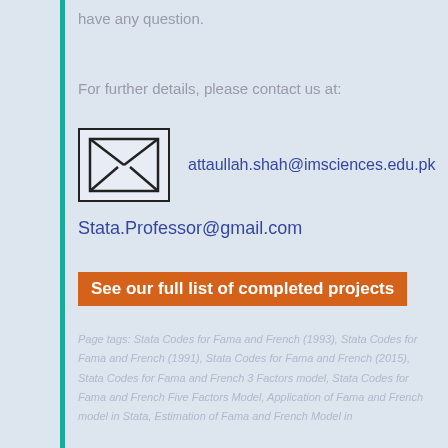have any question.
For further details, please contact us at:
[Figure (illustration): Envelope / email icon — a rectangular envelope with a stylized X shape formed by the fold lines.]
attaullah.shah@imsciences.edu.pk
Stata.Professor@gmail.com
See our full list of completed projects
Page tags: Stata Codes for Fama and French (1993), Stata Codes for Fama and French (1991), Stata Codes for Fama and French (2015), Stata Codes for Fama and French 3 Factors model, Stata Codes for Fama and French Five Factors Model, Application of Fama and French model in Stata, Estimation of Fama and French Model in